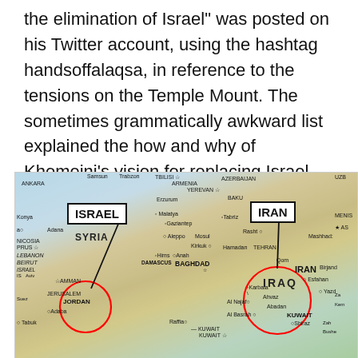the elimination of Israel" was posted on his Twitter account, using the hashtag handsoffalaqsa, in reference to the tensions on the Temple Mount. The sometimes grammatically awkward list explained the how and why of Khomeini's vision for replacing Israel with a Palestinian state.
[Figure (map): Map of the Middle East showing Israel and Iran circled in red with callout boxes labeling ISRAEL and IRAN. The map shows surrounding countries including Syria, Iraq, Jordan, Lebanon, Turkey, and others with city labels.]